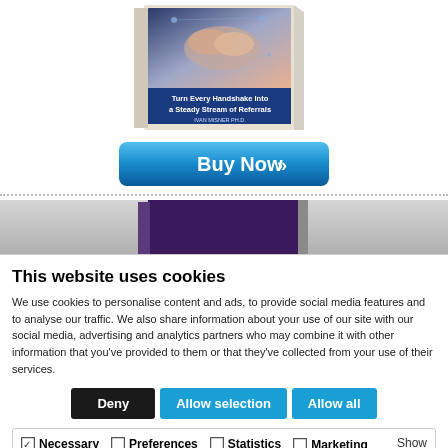[Figure (illustration): Book cover showing 'Turn Every Handshake Into a Steady Stream of Referrals' by Ivan Misner Ph.D. & Oudi Abouchaora D.O., with handshake image]
[Figure (illustration): Blue 'Buy Now' button with double chevron arrows]
[Figure (illustration): Second book partially visible with gray gradient background]
This website uses cookies
We use cookies to personalise content and ads, to provide social media features and to analyse our traffic. We also share information about your use of our site with our social media, advertising and analytics partners who may combine it with other information that you've provided to them or that they've collected from your use of their services.
Deny
Allow selection
Allow all
☑ Necessary  ☐ Preferences  ☐ Statistics  ☐ Marketing  Show details ∨